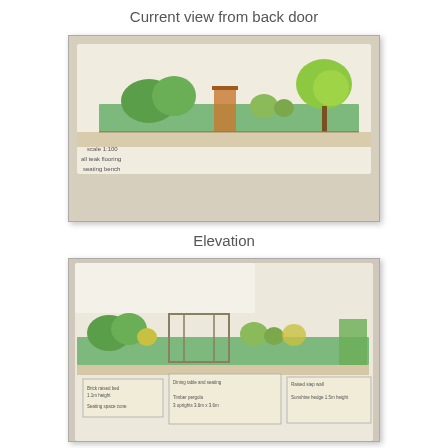Current view from back door
[Figure (illustration): Hand-drawn watercolour elevation sketch showing a garden view from the back door, with plants, shrubs, a fence, and a tree. Labels visible on lower left: scale 1:100, 'all teak flooring', 'seating bench'.]
Elevation
[Figure (illustration): Hand-drawn watercolour garden elevation plan showing plants, pergola structure, and planting zones with annotation boxes below indicating dimensions and labels for dining area and seating, raised step wall, sunshine hedge, outdoor space, timber pergola, and other garden elements.]